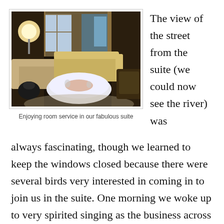[Figure (photo): Interior photo of a hotel suite with sofas, a round table covered with a white tablecloth set for dining, a lamp, and windows in the background.]
Enjoying room service in our fabulous suite
The view of the street from the suite (we could now see the river) was always fascinating, though we learned to keep the windows closed because there were several birds very interested in coming in to join us in the suite. One morning we woke up to very spirited singing as the business across the street started the work day with the